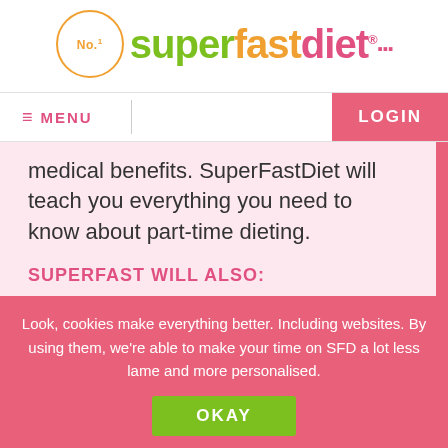[Figure (logo): No.1 SuperFastDiet logo with orange circle, green 'super', orange 'fast', pink 'diet' text]
≡ MENU    LOGIN
medical benefits. SuperFastDiet will teach you everything you need to know about part-time dieting.
SUPERFAST WILL ALSO:
Show you how this diet is UNBREAKABLE!
Look, cookies make everything better. Including websites. By using them, we're able to make your time on SFD a lot less lame and more personalised.
OKAY